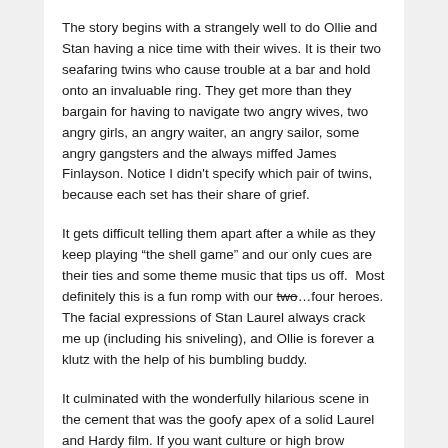The story begins with a strangely well to do Ollie and Stan having a nice time with their wives. It is their two seafaring twins who cause trouble at a bar and hold onto an invaluable ring. They get more than they bargain for having to navigate two angry wives, two angry girls, an angry waiter, an angry sailor, some angry gangsters and the always miffed James Finlayson. Notice I didn't specify which pair of twins, because each set has their share of grief.
It gets difficult telling them apart after a while as they keep playing “the shell game” and our only cues are their ties and some theme music that tips us off.  Most definitely this is a fun romp with our two…four heroes. The facial expressions of Stan Laurel always crack me up (including his sniveling), and Ollie is forever a klutz with the help of his bumbling buddy.
It culminated with the wonderfully hilarious scene in the cement that was the goofy apex of a solid Laurel and Hardy film. If you want culture or high brow humor please